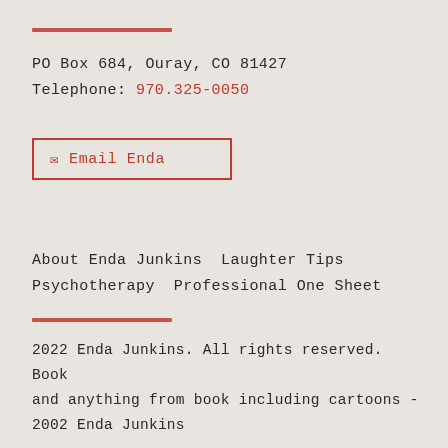PO Box 684, Ouray, CO 81427
Telephone: 970.325-0050
Email Enda
About Enda Junkins  Laughter Tips  Psychotherapy  Professional One Sheet
2022 Enda Junkins. All rights reserved. Book and anything from book including cartoons - 2002 Enda Junkins